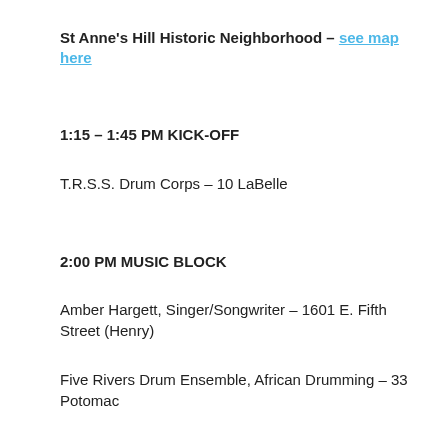St Anne's Hill Historic Neighborhood – see map here
1:15 – 1:45 PM KICK-OFF
T.R.S.S. Drum Corps – 10 LaBelle
2:00 PM MUSIC BLOCK
Amber Hargett, Singer/Songwriter – 1601 E. Fifth Street (Henry)
Five Rivers Drum Ensemble, African Drumming – 33 Potomac